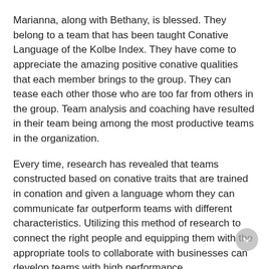Marianna, along with Bethany, is blessed. They belong to a team that has been taught Conative Language of the Kolbe Index. They have come to appreciate the amazing positive conative qualities that each member brings to the group. They can tease each other those who are too far from others in the group. Team analysis and coaching have resulted in their team being among the most productive teams in the organization.
Every time, research has revealed that teams constructed based on conative traits that are trained in conation and given a language whom they can communicate far outperform teams with different characteristics. Utilizing this method of research to connect the right people and equipping them with the appropriate tools to collaborate with businesses can develop teams with high performance